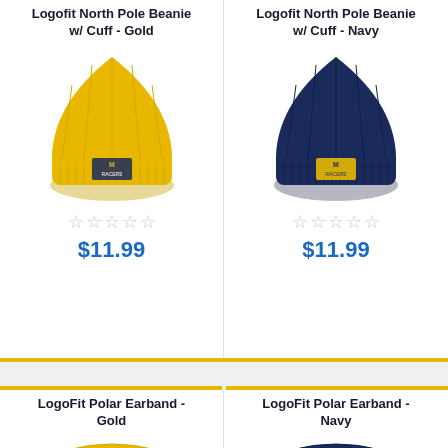Logofit North Pole Beanie w/ Cuff - Gold
[Figure (photo): Yellow/gold knit beanie with cuffed brim and Murray State Racers logo embroidered on front]
☆☆☆☆☆
$11.99
Logofit North Pole Beanie w/ Cuff - Navy
[Figure (photo): Navy blue knit beanie with cuffed brim and Murray State Racers logo embroidered on front]
☆☆☆☆☆
$11.99
LogoFit Polar Earband - Gold
[Figure (photo): Gold/yellow polar earband partially visible at bottom]
LogoFit Polar Earband - Navy
[Figure (photo): Navy blue polar earband partially visible at bottom]